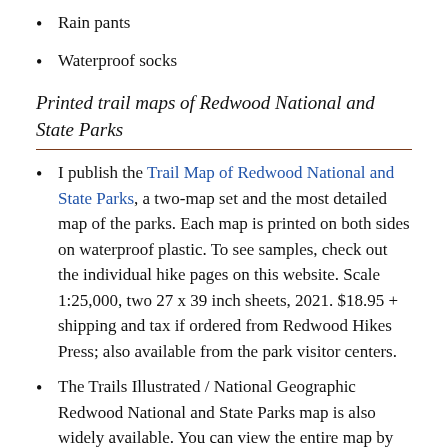Rain pants
Waterproof socks
Printed trail maps of Redwood National and State Parks
I publish the Trail Map of Redwood National and State Parks, a two-map set and the most detailed map of the parks. Each map is printed on both sides on waterproof plastic. To see samples, check out the individual hike pages on this website. Scale 1:25,000, two 27 x 39 inch sheets, 2021. $18.95 + shipping and tax if ordered from Redwood Hikes Press; also available from the park visitor centers.
The Trails Illustrated / National Geographic Redwood National and State Parks map is also widely available. You can view the entire map by clicking the little map preview images on the National Geographic Map. Scale 1:70,000, $5.25.